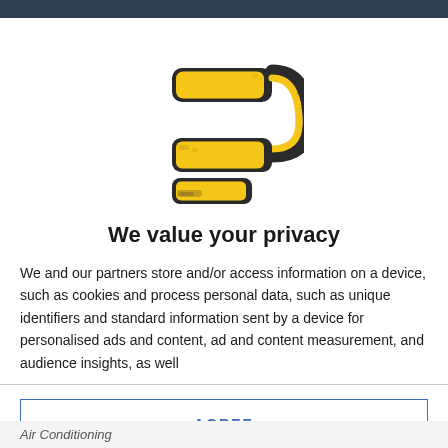[Figure (logo): Logo shaped like the letter P made of three yellow cigarette-like bars with dark outlines, forming a stylized P/question-mark shape]
We value your privacy
We and our partners store and/or access information on a device, such as cookies and process personal data, such as unique identifiers and standard information sent by a device for personalised ads and content, ad and content measurement, and audience insights, as well
AGREE
MORE OPTIONS
Air Conditioning